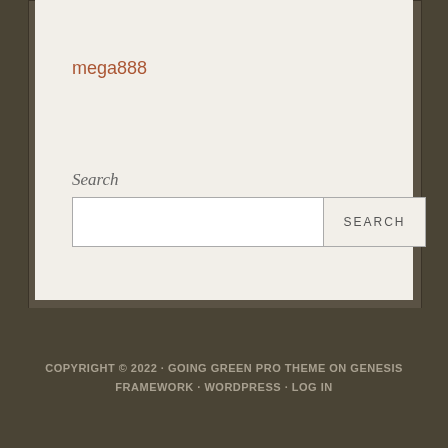mega888
Search
[Figure (screenshot): Search input box (text field) with a SEARCH button]
COPYRIGHT © 2022 · GOING GREEN PRO THEME ON GENESIS FRAMEWORK · WORDPRESS · LOG IN